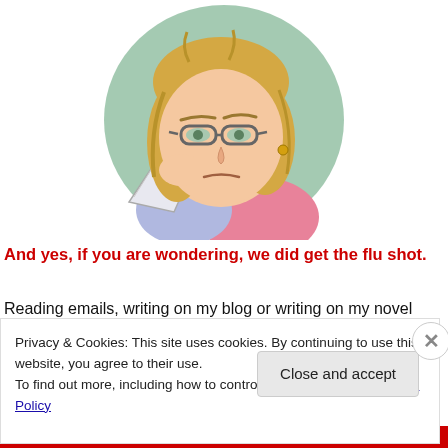[Figure (illustration): Cartoon illustration of a woman with blonde hair and glasses holding a tissue to her face, wearing a light blue and pink top, with a green circular background behind her head, appearing sick]
And yes, if you are wondering, we did get the flu shot.
Reading emails, writing on my blog or writing on my novel
Privacy & Cookies: This site uses cookies. By continuing to use this website, you agree to their use.
To find out more, including how to control cookies, see here: Cookie Policy